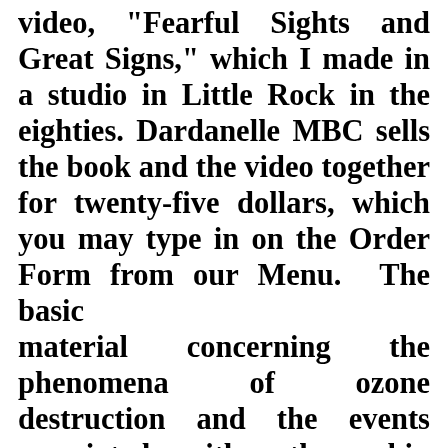video, "Fearful Sights and Great Signs," which I made in a studio in Little Rock in the eighties. Dardanelle MBC sells the book and the video together for twenty-five dollars, which you may type in on the Order Form from our Menu.  The basic material concerning the phenomena of ozone destruction and the events associated with other skin eruptions, before and during the tribulation period, are outlined in two Birth Pangs, 14 and 14A, which I put in my book in the